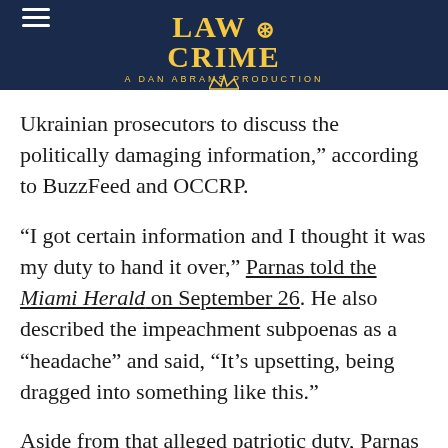LAW & CRIME — A DAN ABRAMS PRODUCTION
Ukrainian prosecutors to discuss the politically damaging information,” according to BuzzFeed and OCCRP.
“I got certain information and I thought it was my duty to hand it over,” Parnas told the Miami Herald on September 26. He also described the impeachment subpoenas as a “headache” and said, “It’s upsetting, being dragged into something like this.”
Aside from that alleged patriotic duty, Parnas has mostly been tight-lipped about the exact contours